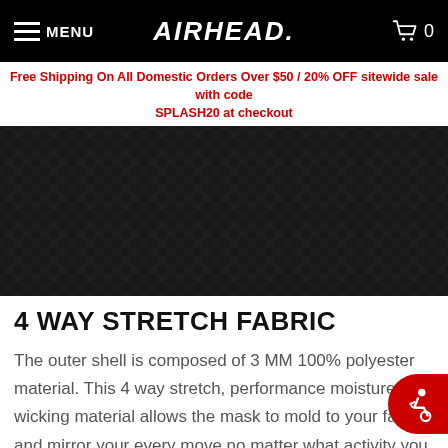MENU | AIRHEAD | 0
Free Shipping On All Domestic Orders Over $50 / 20% OFF sitewide sale with code SPLASH20 at checkout
[Figure (photo): Close-up photograph of black 4-way stretch fabric with textured surface showing small circular dimple pattern]
4 WAY STRETCH FABRIC
The outer shell is composed of 3 MM 100% polyester material. This 4 way stretch, performance moisture wicking material allows the mask to mold to your face and mirror your every move no matter what activity you are participating in.